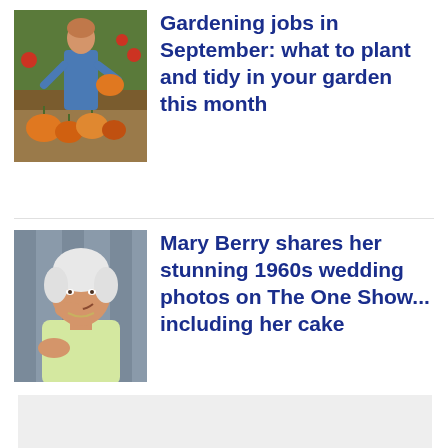[Figure (photo): Woman in garden holding pumpkins surrounded by vegetables and plants]
Gardening jobs in September: what to plant and tidy in your garden this month
[Figure (photo): Older woman with white hair smiling, resting her chin on her hand, wearing a yellow cardigan]
Mary Berry shares her stunning 1960s wedding photos on The One Show... including her cake
[Figure (other): Gray advertisement or content placeholder block]